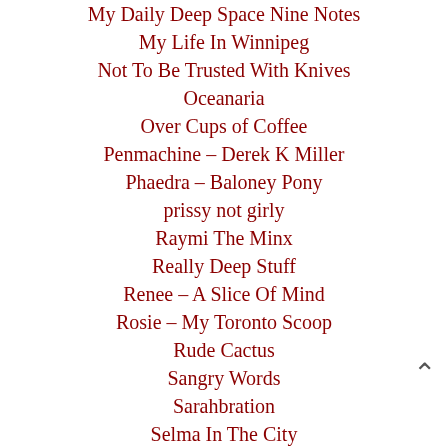My Daily Deep Space Nine Notes
My Life In Winnipeg
Not To Be Trusted With Knives
Oceanaria
Over Cups of Coffee
Penmachine – Derek K Miller
Phaedra – Baloney Pony
prissy not girly
Raymi The Minx
Really Deep Stuff
Renee – A Slice Of Mind
Rosie – My Toronto Scoop
Rude Cactus
Sangry Words
Sarahbration
Selma In The City